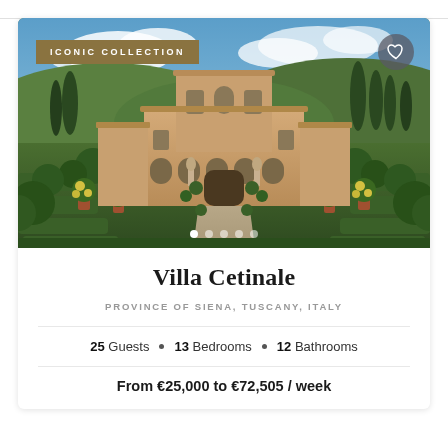[Figure (photo): Aerial-level photograph of Villa Cetinale, an Italian Renaissance villa in Tuscany with formal garden hedge rows, topiary trees, lemon trees in terracotta pots, and a straight garden path leading to the villa façade. Blue sky with clouds. An 'ICONIC COLLECTION' gold badge overlays the top-left and a heart/favorite button overlays the top-right. Five carousel navigation dots appear at the bottom center.]
Villa Cetinale
PROVINCE OF SIENA, TUSCANY, ITALY
25 Guests • 13 Bedrooms • 12 Bathrooms
From €25,000 to €72,505 / week